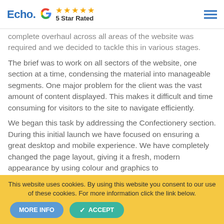Echo. [Google logo] ★★★★★ 5 Star Rated [hamburger menu]
complete overhaul across all areas of the website was required and we decided to tackle this in various stages.
The brief was to work on all sectors of the website, one section at a time, condensing the material into manageable segments. One major problem for the client was the vast amount of content displayed. This makes it difficult and time consuming for visitors to the site to navigate efficiently.
We began this task by addressing the Confectionery section. During this initial launch we have focused on ensuring a great desktop and mobile experience. We have completely changed the page layout, giving it a fresh, modern appearance by using colour and graphics to
This website uses cookies. By using this website you consent to our use of these cookies. For more information click the link below.
MORE INFO   ✓ ACCEPT